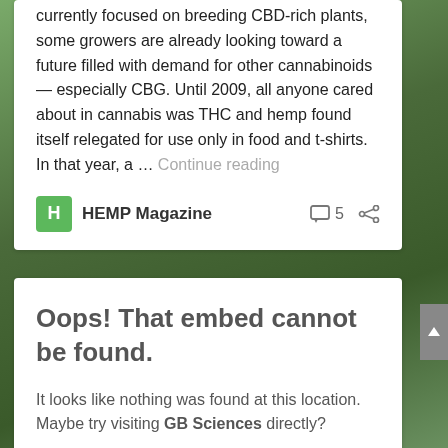currently focused on breeding CBD-rich plants, some growers are already looking toward a future filled with demand for other cannabinoids — especially CBG. Until 2009, all anyone cared about in cannabis was THC and hemp found itself relegated for use only in food and t-shirts. In that year, a … Continue reading
H  HEMP Magazine   5
Oops! That embed cannot be found.
It looks like nothing was found at this location. Maybe try visiting GB Sciences directly?
Gb  GB Sciences